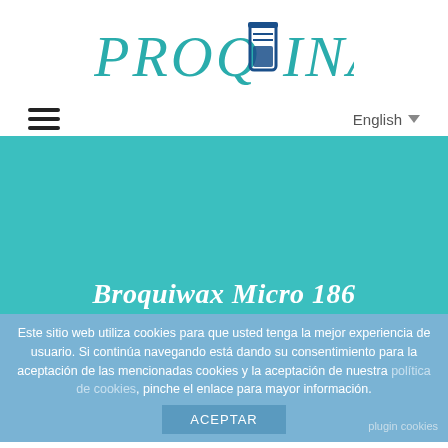[Figure (logo): PROQINAT logo with teal text and a blue test tube icon between PROQ and INAT]
≡   English ▾
[Figure (illustration): Teal/turquoise hero banner background]
Broquiwax Micro 186
Este sitio web utiliza cookies para que usted tenga la mejor experiencia de usuario. Si continúa navegando está dando su consentimiento para la aceptación de las mencionadas cookies y la aceptación de nuestra política de cookies, pinche el enlace para mayor información.
ACEPTAR
plugin cookies